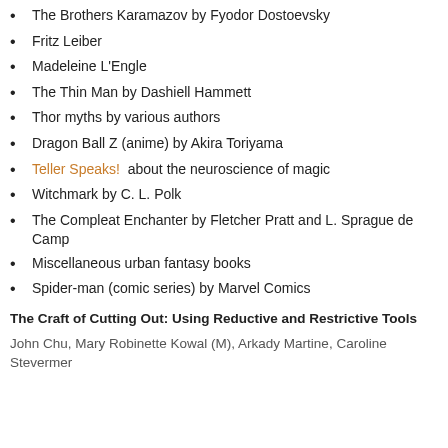The Brothers Karamazov by Fyodor Dostoevsky
Fritz Leiber
Madeleine L'Engle
The Thin Man by Dashiell Hammett
Thor myths by various authors
Dragon Ball Z (anime) by Akira Toriyama
Teller Speaks!  about the neuroscience of magic
Witchmark by C. L. Polk
The Compleat Enchanter by Fletcher Pratt and L. Sprague de Camp
Miscellaneous urban fantasy books
Spider-man (comic series) by Marvel Comics
The Craft of Cutting Out: Using Reductive and Restrictive Tools
John Chu, Mary Robinette Kowal (M), Arkady Martine, Caroline Stevermer